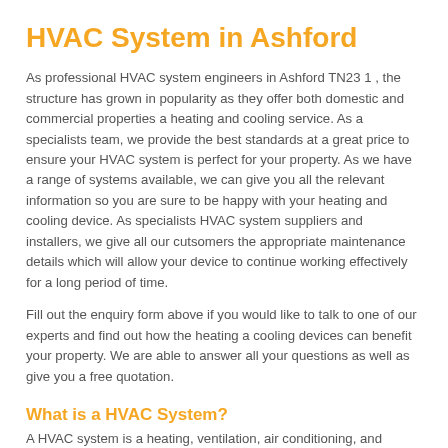HVAC System in Ashford
As professional HVAC system engineers in Ashford TN23 1 , the structure has grown in popularity as they offer both domestic and commercial properties a heating and cooling service. As a specialists team, we provide the best standards at a great price to ensure your HVAC system is perfect for your property. As we have a range of systems available, we can give you all the relevant information so you are sure to be happy with your heating and cooling device. As specialists HVAC system suppliers and installers, we give all our cutsomers the appropriate maintenance details which will allow your device to continue working effectively for a long period of time.
Fill out the enquiry form above if you would like to talk to one of our experts and find out how the heating a cooling devices can benefit your property. We are able to answer all your questions as well as give you a free quotation.
What is a HVAC System?
A HVAC system is a heating, ventilation, air conditioning, and cooling...